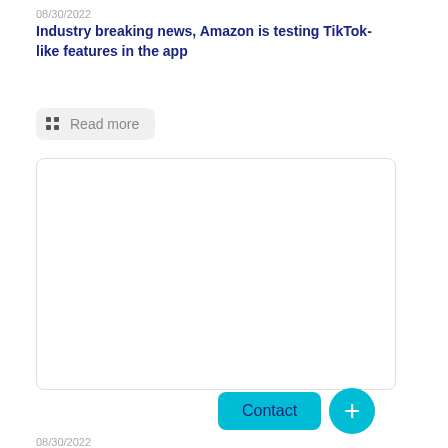08/30/2022
Industry breaking news, Amazon is testing TikTok-like features in the app
Read more
[Figure (other): Empty white content box with rounded border]
Contact
08/30/2022